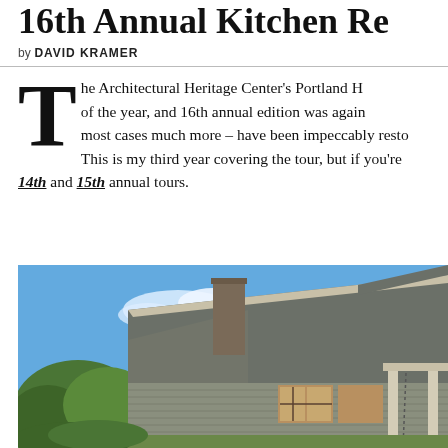16th Annual Kitchen Re…
by DAVID KRAMER
The Architectural Heritage Center's Portland H… of the year, and 16th annual edition was again… most cases much more – have been impeccably resto… This is my third year covering the tour, but if you're… 14th and 15th annual tours.
[Figure (photo): Exterior photograph of a craftsman-style house with gray siding, gabled roof, chimney, covered porch, and trees in foreground under a blue sky with white clouds.]